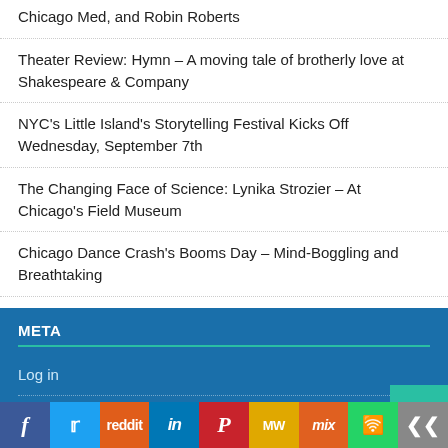Chicago Med, and Robin Roberts
Theater Review: Hymn – A moving tale of brotherly love at Shakespeare & Company
NYC's Little Island's Storytelling Festival Kicks Off Wednesday, September 7th
The Changing Face of Science: Lynika Strozier – At Chicago's Field Museum
Chicago Dance Crash's Booms Day – Mind-Boggling and Breathtaking
META
Log in
Entries feed